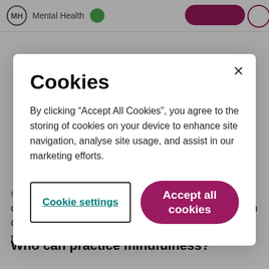Mental Health
can significantly reduce the symptoms of anxiety and depression. They can also help people who have been depressed several times to stay well and avoid relapsing.
Who can practice mindfulness?
Cookies
By clicking “Accept All Cookies”, you agree to the storing of cookies on your device to enhance site navigation, analyse site usage, and assist in our marketing efforts.
Cookie settings
Accept all cookies